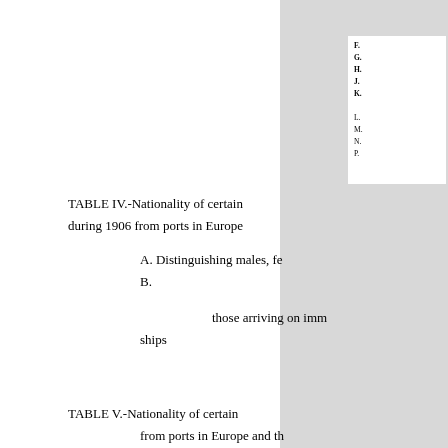F.
G.
H.
J.
K.
L.
M.
N.
P.
TABLE IV.-Nationality of certain immigrants arriving during 1906 from ports in Europe
A. Distinguishing males, females
B.
those arriving on immigrant ships
TABLE V.-Nationality of certain immigrants arriving from ports in Europe and the ports of departure :